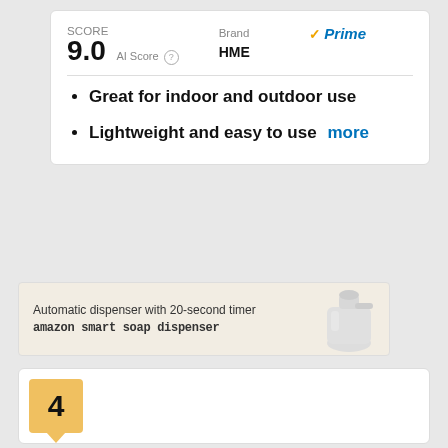SCORE 9.0 AI Score | Brand ✓Prime HME
Great for indoor and outdoor use
Lightweight and easy to use more
[Figure (illustration): Amazon smart soap dispenser ad banner: 'Automatic dispenser with 20-second timer' with soap dispenser image]
4